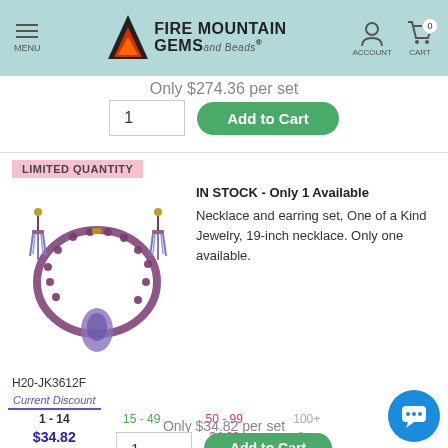Fire Mountain Gems and Beads - MENU | ACCOUNT | CART 0
Only $274.36 per set
1  Add to Cart
LIMITED QUANTITY
[Figure (photo): Jewelry set: beaded necklace with pendant and matching tassel earrings in purple/blue tones]
IN STOCK - Only 1 Available
Necklace and earring set, One of a Kind Jewelry, 19-inch necklace. Only one available.
H20-JK3612F
| 1 - 14 | 15 - 49 | 50 - 99 | 100+ |
| --- | --- | --- | --- |
| $34.82 | 34.82 | 34.82 | 3... |
Only $34.82 per set
1  Add to Cart